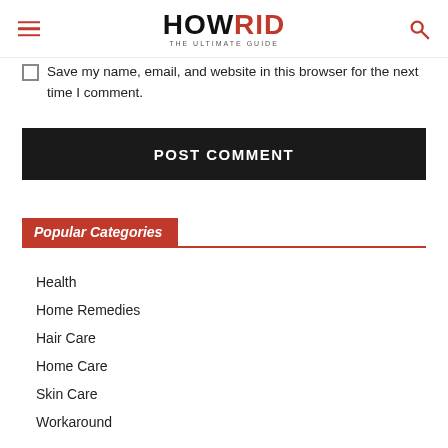HOWRID THE ULTIMATE GUIDE
Save my name, email, and website in this browser for the next time I comment.
POST COMMENT
Popular Categories
Health
Home Remedies
Hair Care
Home Care
Skin Care
Workaround